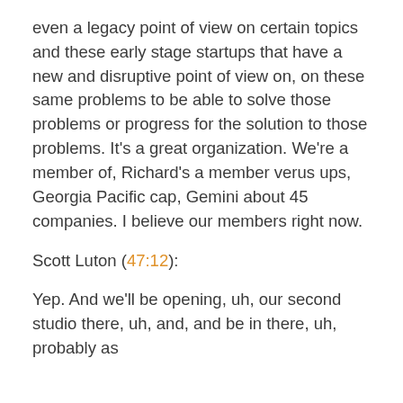even a legacy point of view on certain topics and these early stage startups that have a new and disruptive point of view on, on these same problems to be able to solve those problems or progress for the solution to those problems. It's a great organization. We're a member of, Richard's a member verus ups, Georgia Pacific cap, Gemini about 45 companies. I believe our members right now.
Scott Luton (47:12):
Yep. And we'll be opening, uh, our second studio there, uh, and, and be in there, uh, probably as